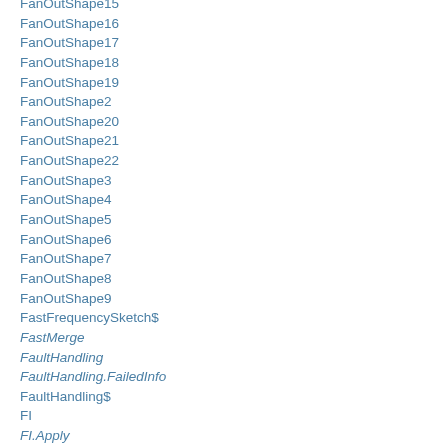FanOutShape15
FanOutShape16
FanOutShape17
FanOutShape18
FanOutShape19
FanOutShape2
FanOutShape20
FanOutShape21
FanOutShape22
FanOutShape3
FanOutShape4
FanOutShape5
FanOutShape6
FanOutShape7
FanOutShape8
FanOutShape9
FastFrequencySketch$
FastMerge
FaultHandling
FaultHandling.FailedInfo
FaultHandling$
FI
FI.Apply
FI.Apply2
FI.TypedPredicate
FI.TypedPredicate2
FI.UnitApply
FI.UnitApply2